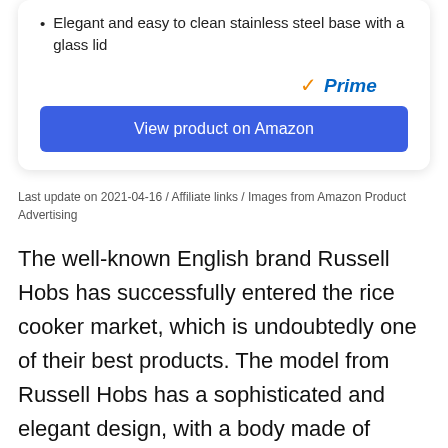Elegant and easy to clean stainless steel base with a glass lid
[Figure (logo): Amazon Prime logo with orange checkmark and blue 'Prime' text in italic]
View product on Amazon
Last update on 2021-04-16 / Affiliate links / Images from Amazon Product Advertising
The well-known English brand Russell Hobs has successfully entered the rice cooker market, which is undoubtedly one of their best products. The model from Russell Hobs has a sophisticated and elegant design, with a body made of stainless steel and a glass lid that allows greater resistance and better heat retention.
With a power of 700 watts and a capacity of up to 1.8